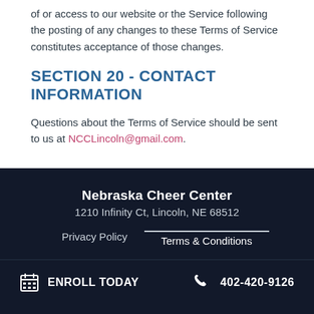of or access to our website or the Service following the posting of any changes to these Terms of Service constitutes acceptance of those changes.
SECTION 20 - CONTACT INFORMATION
Questions about the Terms of Service should be sent to us at NCCLincoln@gmail.com.
Nebraska Cheer Center
1210 Infinity Ct, Lincoln, NE 68512
Privacy Policy   Terms & Conditions
ENROLL TODAY   402-420-9126